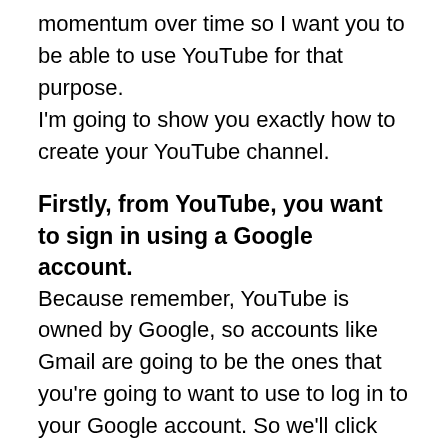momentum over time so I want you to be able to use YouTube for that purpose.
I'm going to show you exactly how to create your YouTube channel.
Firstly, from YouTube, you want to sign in using a Google account.
Because remember, YouTube is owned by Google, so accounts like Gmail are going to be the ones that you're going to want to use to log in to your Google account. So we'll click sign in. Once you're logged in with your email, now you want to create your channel. So we're going to click on the icon in the top right and we're going to go down to my channel. From here it's going to ask you how do you want to use YouTube? As your name, as your business page, whatever is your preference. So for